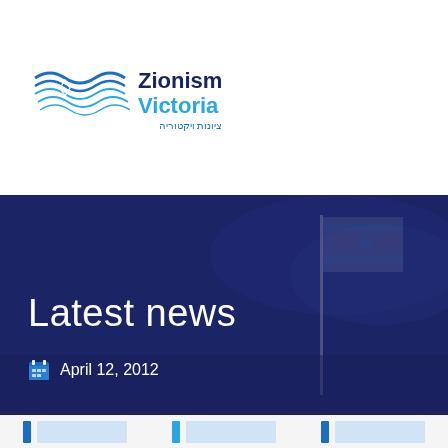[Figure (logo): Zionism Victoria logo with wave/star graphic on left and text 'Zionism Victoria' in dark blue and cyan, Hebrew text below]
[Figure (photo): Dark navy blue hero banner with an Israeli flag visible in the background, partially transparent overlay]
Latest news
April 12, 2012
[Figure (other): Bottom strip showing three card preview elements each with a blue bar and light blue rectangle]